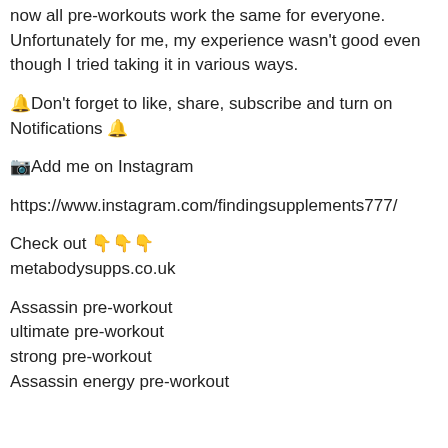now all pre-workouts work the same for everyone. Unfortunately for me, my experience wasn't good even though I tried taking it in various ways.
🔔Don't forget to like, share, subscribe and turn on Notifications 🔔
📷Add me on Instagram
https://www.instagram.com/findingsupplements777/
Check out 👇👇👇
metabodysupps.co.uk
Assassin pre-workout
ultimate pre-workout
strong pre-workout
Assassin energy pre-workout